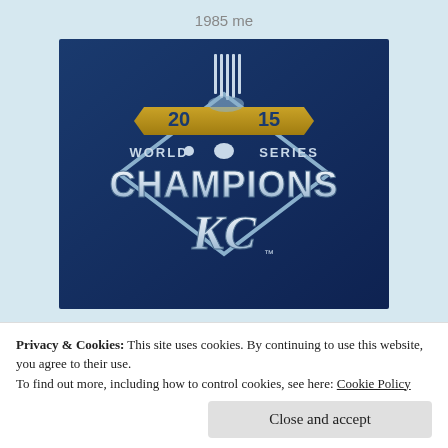1985 me
[Figure (logo): 2015 Kansas City Royals World Series Champions logo on dark blue background with silver diamond shape, gold banner reading '2015', bold white text 'WORLD SERIES CHAMPIONS' and 'KC' lettering]
Privacy & Cookies: This site uses cookies. By continuing to use this website, you agree to their use.
To find out more, including how to control cookies, see here: Cookie Policy
Close and accept